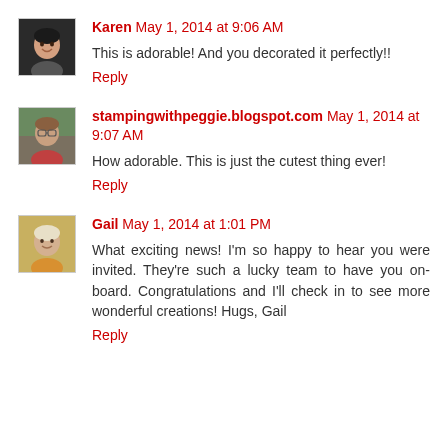Karen May 1, 2014 at 9:06 AM
This is adorable! And you decorated it perfectly!!
Reply
stampingwithpeggie.blogspot.com May 1, 2014 at 9:07 AM
How adorable. This is just the cutest thing ever!
Reply
Gail May 1, 2014 at 1:01 PM
What exciting news! I'm so happy to hear you were invited. They're such a lucky team to have you on-board. Congratulations and I'll check in to see more wonderful creations! Hugs, Gail
Reply